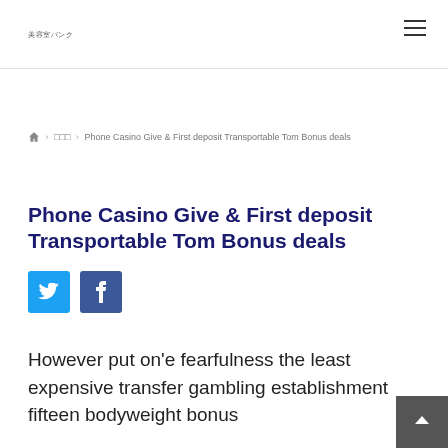美容室バンク
🏠 › □□□ › Phone Casino Give & First deposit Transportable Tom Bonus deals
Phone Casino Give & First deposit Transportable Tom Bonus deals
[Figure (other): Twitter and Facebook social share buttons]
However put on'e fearfulness the least expensive transfer gambling establishment fifteen bodyweight bonus